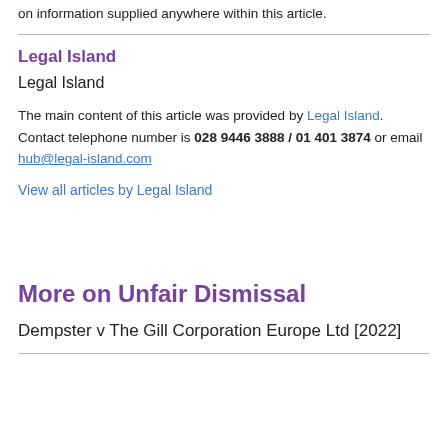on information supplied anywhere within this article.
Legal Island
Legal Island
The main content of this article was provided by Legal Island. Contact telephone number is 028 9446 3888 / 01 401 3874 or email hub@legal-island.com
View all articles by Legal Island
More on Unfair Dismissal
Dempster v The Gill Corporation Europe Ltd [2022]